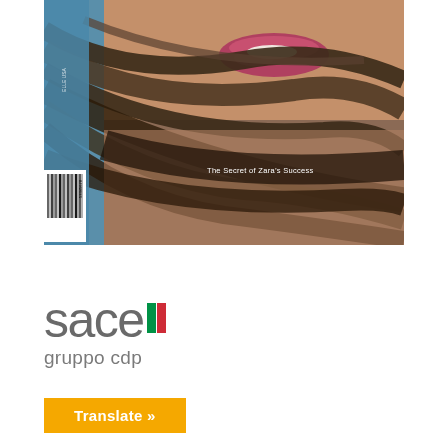[Figure (photo): Close-up photo of a woman's face with hair blowing across it, lips visible with pink lipstick, against a blue background. Text overlay reads 'The Secret of Zara's Success'. A barcode is visible in the lower-left of the image.]
[Figure (logo): SACE gruppo cdp logo with Italian flag icon (green and red vertical bars) next to the word 'sace' in large light grey text, and 'gruppo cdp' below in smaller grey text.]
Translate »